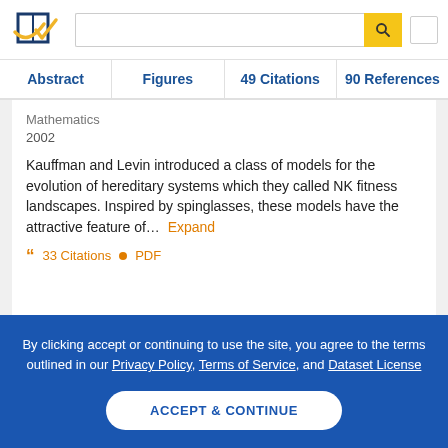[Figure (logo): Semantic Scholar logo with stylized book/check mark in navy and gold]
Mathematics
2002
Kauffman and Levin introduced a class of models for the evolution of hereditary systems which they called NK fitness landscapes. Inspired by spinglasses, these models have the attractive feature of... Expand
33 Citations   PDF
By clicking accept or continuing to use the site, you agree to the terms outlined in our Privacy Policy, Terms of Service, and Dataset License
ACCEPT & CONTINUE